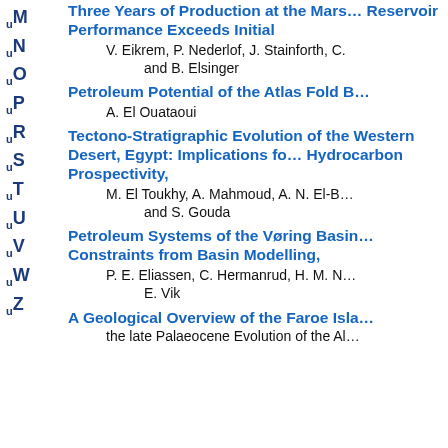M
N
O
P
R
S
T
U
V
W
Z
Three Years of Production at the Mars… Reservoir Performance Exceeds Initial
V. Eikrem, P. Nederlof, J. Stainforth, C. and B. Elsinger
Petroleum Potential of the Atlas Fold B…
A. El Ouataoui
Tectono-Stratigraphic Evolution of the Western Desert, Egypt: Implications fo… Hydrocarbon Prospectivity,
M. El Toukhy, A. Mahmoud, A. N. El-B… and S. Gouda
Petroleum Systems of the Vøring Basin… Constraints from Basin Modelling,
P. E. Eliassen, C. Hermanrud, H. M. N… E. Vik
A Geological Overview of the Faroe Isla…